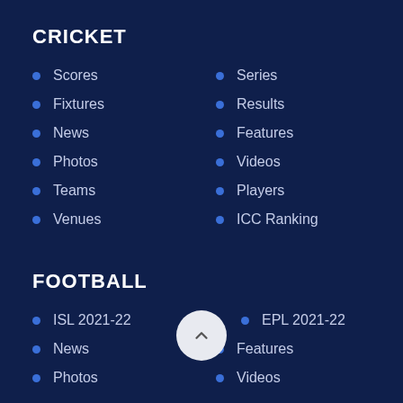CRICKET
Scores
Series
Fixtures
Results
News
Features
Photos
Videos
Teams
Players
Venues
ICC Ranking
FOOTBALL
ISL 2021-22
EPL 2021-22
News
Features
Photos
Videos